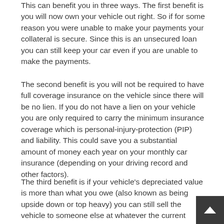This can benefit you in three ways. The first benefit is you will now own your vehicle out right. So if for some reason you were unable to make your payments your collateral is secure. Since this is an unsecured loan you can still keep your car even if you are unable to make the payments.
The second benefit is you will not be required to have full coverage insurance on the vehicle since there will be no lien. If you do not have a lien on your vehicle you are only required to carry the minimum insurance coverage which is personal-injury-protection (PIP) and liability. This could save you a substantial amount of money each year on your monthly car insurance (depending on your driving record and other factors).
The third benefit is if your vehicle's depreciated value is more than what you owe (also known as being upside down or top heavy) you can still sell the vehicle to someone else at whatever the current value is without